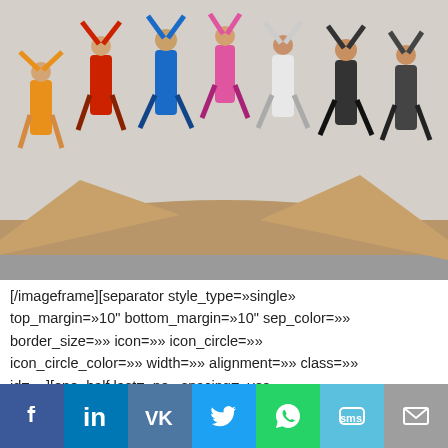[Figure (photo): Group of people jumping in the air outdoors on a sandy/rocky terrain, colorful clothing, taken in daylight.]
[/imageframe][separator style_type=»single» top_margin=»10" bottom_margin=»10" sep_color=»» border_size=»» icon=»» icon_circle=»» icon_circle_color=»» width=»» alignment=»» class=»» id=»»][one_half last=»no» spacing=»yes» center_content=»no» hide_on_mobile=»no» background_color=»» background_image=»» background_repeat=»no-repeat» background_position=»left top» border_position=»all» border_size=»0px» border_color=»» border_style=»»
[Figure (infographic): Social media sharing bar with Facebook, LinkedIn, VK, Twitter, WhatsApp, SMS, and Email icons]